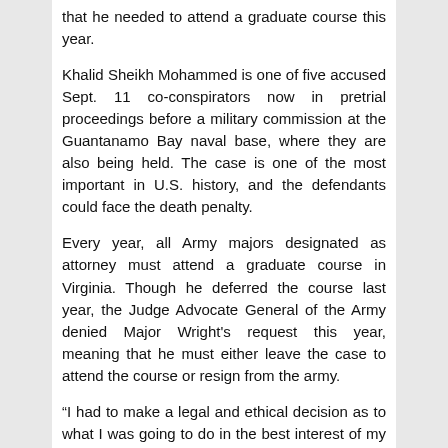that he needed to attend a graduate course this year.
Khalid Sheikh Mohammed is one of five accused Sept. 11 co-conspirators now in pretrial proceedings before a military commission at the Guantanamo Bay naval base, where they are also being held. The case is one of the most important in U.S. history, and the defendants could face the death penalty.
Every year, all Army majors designated as attorney must attend a graduate course in Virginia. Though he deferred the course last year, the Judge Advocate General of the Army denied Major Wright's request this year, meaning that he must either leave the case to attend the course or resign from the army.
“I had to make a legal and ethical decision as to what I was going to do in the best interest of my client, and I chose the option which 100 percent of all defense lawyers would choose. It’s one of these law school scenarios; it’s just being played out in real life.” Continue reading →